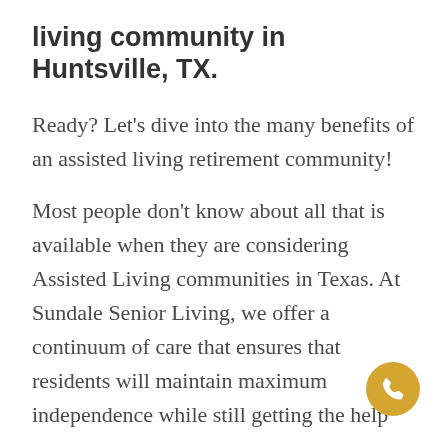living community in Huntsville, TX.
Ready? Let’s dive into the many benefits of an assisted living retirement community!
Most people don’t know about all that is available when they are considering Assisted Living communities in Texas. At Sundale Senior Living, we offer a continuum of care that ensures that residents will maintain maximum independence while still getting the help
[Figure (illustration): Golden/yellow circular phone call button icon in the bottom right corner]